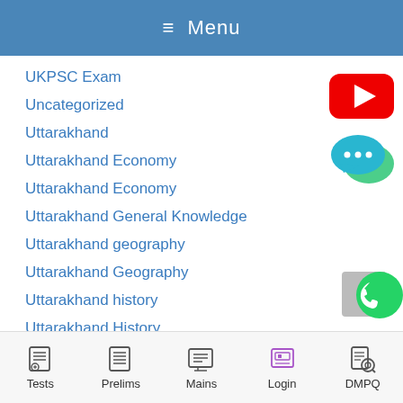≡ Menu
UKPSC Exam
Uncategorized
Uttarakhand
Uttarakhand Economy
Uttarakhand Economy
Uttarakhand General Knowledge
Uttarakhand geography
Uttarakhand Geography
Uttarakhand history
Uttarakhand History
Uttarakhand History
[Figure (illustration): YouTube play button icon (red rounded rectangle with white triangle)]
[Figure (illustration): Chat/messaging bubble icon (teal/cyan speech bubbles with three dots)]
[Figure (illustration): WhatsApp icon (green circle with white phone handset)]
Tests  Prelims  Mains  Login  DMPQ